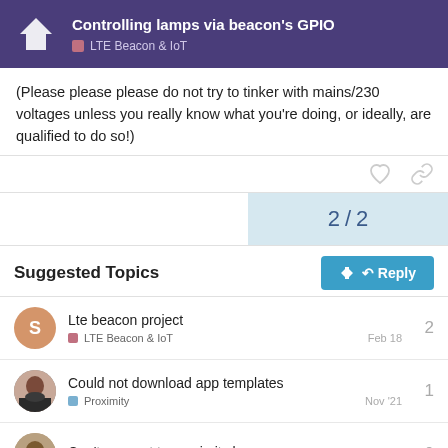Controlling lamps via beacon's GPIO — LTE Beacon & IoT
(Please please please do not try to tinker with mains/230 voltages unless you really know what you're doing, or ideally, are qualified to do so!)
2 / 2
Suggested Topics
Lte beacon project — LTE Beacon & IoT — 2 — Feb 18
Could not download app templates — Proximity — 1 — Nov '21
Can't connect to proximity beacon — 0